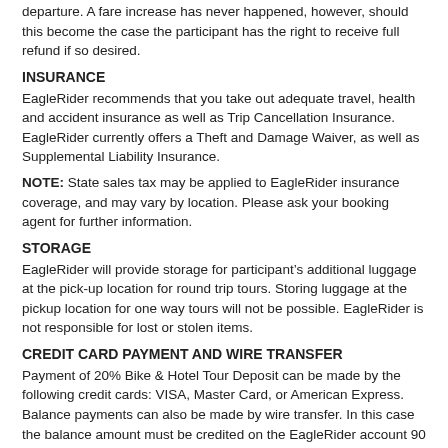departure. A fare increase has never happened, however, should this become the case the participant has the right to receive full refund if so desired.
INSURANCE
EagleRider recommends that you take out adequate travel, health and accident insurance as well as Trip Cancellation Insurance. EagleRider currently offers a Theft and Damage Waiver, as well as Supplemental Liability Insurance.
NOTE: State sales tax may be applied to EagleRider insurance coverage, and may vary by location. Please ask your booking agent for further information.
STORAGE
EagleRider will provide storage for participant’s additional luggage at the pick-up location for round trip tours. Storing luggage at the pickup location for one way tours will not be possible. EagleRider is not responsible for lost or stolen items.
CREDIT CARD PAYMENT AND WIRE TRANSFER
Payment of 20% Bike & Hotel Tour Deposit can be made by the following credit cards: VISA, Master Card, or American Express. Balance payments can also be made by wire transfer. In this case the balance amount must be credited on the EagleRider account 90 days prior to the tour start date.
PAYMENT BY WIRE TRANSFER